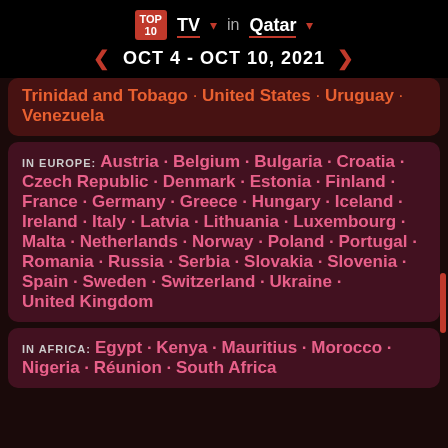TOP 10 TV in Qatar
OCT 4 - OCT 10, 2021
Trinidad and Tobago · United States · Uruguay · Venezuela
IN EUROPE: Austria · Belgium · Bulgaria · Croatia · Czech Republic · Denmark · Estonia · Finland · France · Germany · Greece · Hungary · Iceland · Ireland · Italy · Latvia · Lithuania · Luxembourg · Malta · Netherlands · Norway · Poland · Portugal · Romania · Russia · Serbia · Slovakia · Slovenia · Spain · Sweden · Switzerland · Ukraine · United Kingdom
IN AFRICA: Egypt · Kenya · Mauritius · Morocco · Nigeria · Réunion · South Africa